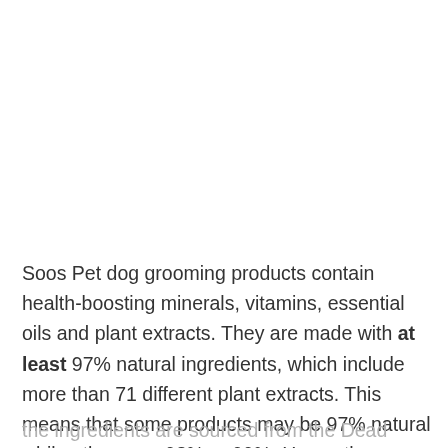Soos Pet dog grooming products contain health-boosting minerals, vitamins, essential oils and plant extracts. They are made with at least 97% natural ingredients, which include more than 71 different plant extracts. This means that some products may be 97% natural while others are 98% or 99%. Hence the name
the ingredients are sourced from the Dead Sea, which